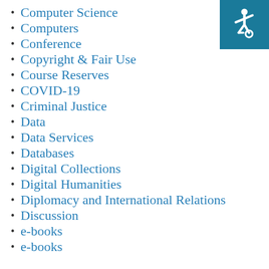[Figure (illustration): Accessibility icon — white wheelchair symbol on teal/dark cyan background, top-right corner]
Computer Science
Computers
Conference
Copyright & Fair Use
Course Reserves
COVID-19
Criminal Justice
Data
Data Services
Databases
Digital Collections
Digital Humanities
Diplomacy and International Relations
Discussion
e-books
e-books